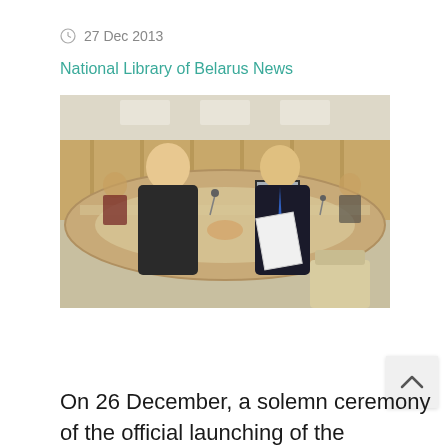27 Dec 2013
National Library of Belarus News
[Figure (photo): Two men in suits shaking hands inside a conference room with a curved table, microphones, and a display screen in the background. The man on the right holds a document folder.]
On 26 December, a solemn ceremony of the official launching of the